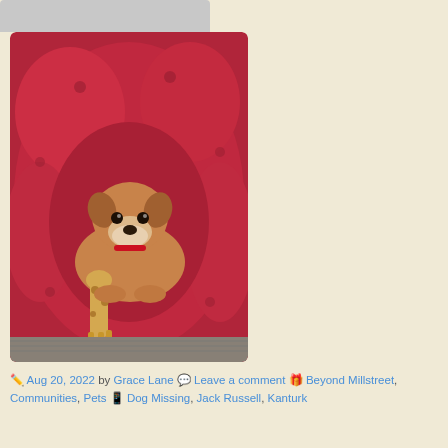[Figure (photo): A small brown/tan dog lying on a large red leather armchair, cuddling with a stuffed giraffe toy. The dog has a graying muzzle and is looking at the camera.]
✏️ Aug 20, 2022 by Grace Lane 💬 Leave a comment 🎁 Beyond Millstreet, Communities, Pets 📱 Dog Missing, Jack Russell, Kanturk